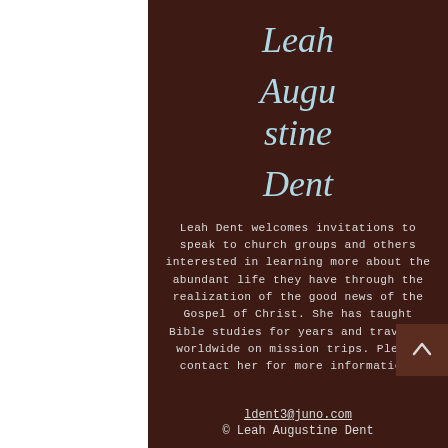Leah Augustine Dent
Leah Dent welcomes invitations to speak to church groups and others interested in learning more about the abundant life they have through the realization of the good news of the Gospel of Christ. She has taught Bible studies for years and traveled worldwide on mission trips. Please contact her for more information.
ldent3@juno.com
© Leah Augustine Dent